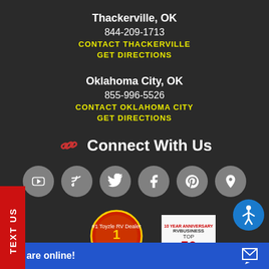Thackerville, OK
844-209-1713
CONTACT THACKERVILLE
GET DIRECTIONS
Oklahoma City, OK
855-996-5526
CONTACT OKLAHOMA CITY
GET DIRECTIONS
Connect With Us
[Figure (infographic): Social media icon buttons: YouTube, RSS feed, Twitter, Facebook, Pinterest, Location/Maps]
[Figure (infographic): Bottom badges: #1 Toyzle RV Dealer badge and RVBusiness Top 50 10-Year Anniversary badge]
We are online!